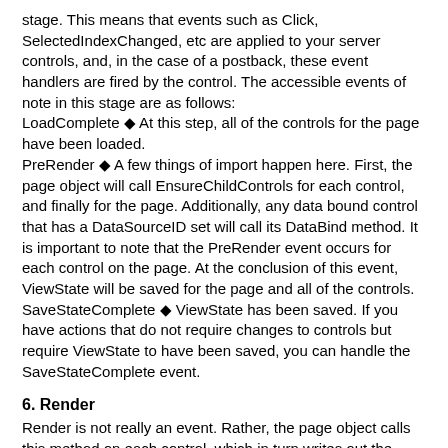stage. This means that events such as Click, SelectedIndexChanged, etc are applied to your server controls, and, in the case of a postback, these event handlers are fired by the control. The accessible events of note in this stage are as follows:
LoadComplete ◆ At this step, all of the controls for the page have been loaded.
PreRender ◆ A few things of import happen here. First, the page object will call EnsureChildControls for each control, and finally for the page. Additionally, any data bound control that has a DataSourceID set will call its DataBind method. It is important to note that the PreRender event occurs for each control on the page. At the conclusion of this event, ViewState will be saved for the page and all of the controls.
SaveStateComplete ◆ ViewState has been saved. If you have actions that do not require changes to controls but require ViewState to have been saved, you can handle the SaveStateComplete event.
6. Render
Render is not really an event. Rather, the page object calls this method on each control, which in turn writes out the